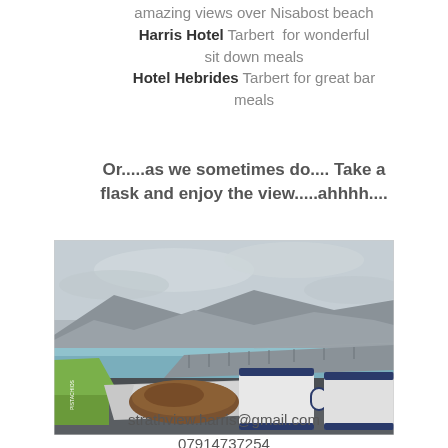amazing views over Nisabost beach Harris Hotel Tarbert for wonderful sit down meals Hotel Hebrides Tarbert for great bar meals
Or.....as we sometimes do.... Take a flask and enjoy the view.....ahhhh....
[Figure (photo): Photo taken from inside a car showing two white enamel mugs with blue rims and food wrapped in foil on the dashboard, with a view of a coastal road, beach, sea, and misty hills in the background.]
strathview.harris@gmail.com
07914737254